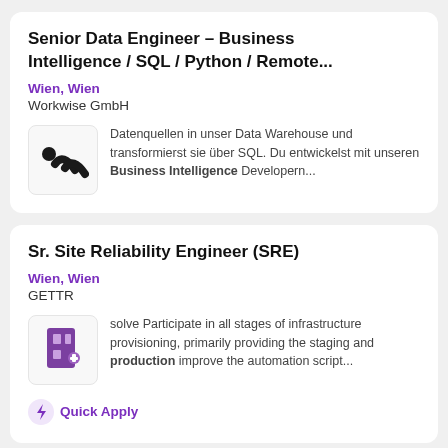Senior Data Engineer - Business Intelligence / SQL / Python / Remote...
Wien, Wien
Workwise GmbH
[Figure (logo): Workwise GmbH logo - black double-quotation mark style icon on light background]
Datenquellen in unser Data Warehouse und transformierst sie über SQL. Du entwickelst mit unseren Business Intelligence Developern...
Sr. Site Reliability Engineer (SRE)
Wien, Wien
GETTR
[Figure (logo): GETTR logo - purple building/door icon on white background]
solve Participate in all stages of infrastructure provisioning, primarily providing the staging and production improve the automation script...
Quick Apply